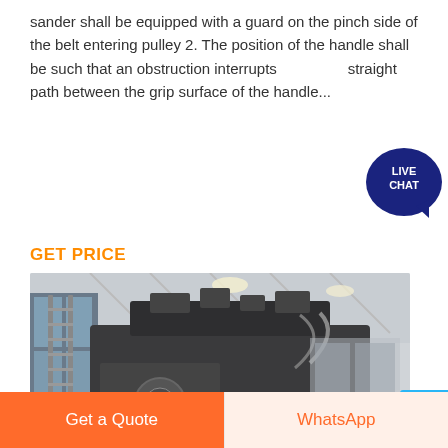sander shall be equipped with a guard on the pinch side of the belt entering pulley 2. The position of the handle shall be such that an obstruction interrupts straight path between the grip surface of the handle...
GET PRICE
[Figure (photo): Industrial grinding mill machine in a large warehouse/factory setting. Large dark-colored heavy machinery in the center, with a metal staircase ladder on the left side, white granular material scattered on the floor, colorful floor markings (red, yellow, white arcs), and warehouse roof structure visible above.]
Grinding Mill Machine In Ghana